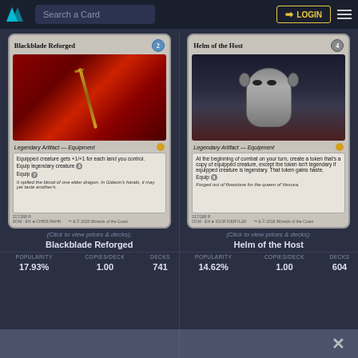Search a Card | LOGIN
[Figure (illustration): Blackblade Reforged MTG card — Legendary Artifact Equipment. Art shows a dark sword with red feathers. Text: Equipped creature gets +1/+1 for each land you control. Equip legendary creature 3. Equip 7. Flavor: It spilled the blood of one elder dragon. In Gideon's hands, it may yet taste another's.]
(Click to view prices & decks):
Blackblade Reforged
| POPULARITY | COPIES/DECK | DECKS |
| --- | --- | --- |
| 17.93% | 1.00 | 741 |
[Figure (illustration): Helm of the Host MTG card — Legendary Artifact Equipment. Art shows a dark helm/face. Text: At the beginning of combat on your turn, create a token that's a copy of equipped creature, except the token isn't legendary if equipped creature is legendary. That token gains haste. Equip 5. Flavor: Forged out of flowstone for the queen of Vesuva.]
(Click to view prices & decks):
Helm of the Host
| POPULARITY | COPIES/DECK | DECKS |
| --- | --- | --- |
| 14.62% | 1.00 | 604 |